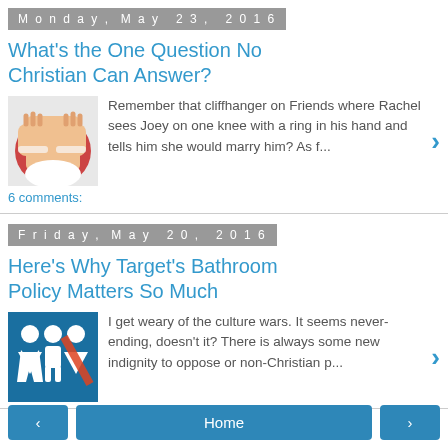Monday, May 23, 2016
What's the One Question No Christian Can Answer?
[Figure (photo): Person covering face with hands]
Remember that cliffhanger on Friends where Rachel sees Joey on one knee with a ring in his hand and tells him she would marry him? As f...
6 comments:
Friday, May 20, 2016
Here's Why Target's Bathroom Policy Matters So Much
[Figure (illustration): Bathroom gender symbol icons on blue background]
I get weary of the culture wars. It seems never-ending, doesn't it? There is always some new indignity to oppose or non-Christian p...
< Home >